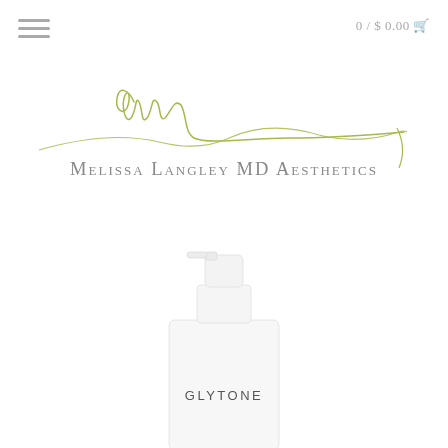0 / $ 0.00
[Figure (logo): Melissa Langley MD Aesthetics logo with olive green cursive 'ml' signature above gray small-caps text]
[Figure (photo): White pump bottle with 'GLYTONE' label, partially cropped at bottom]